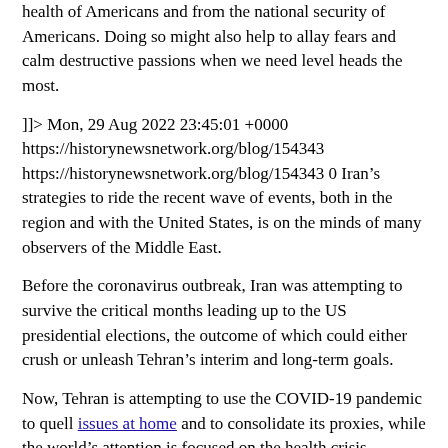health of Americans and from the national security of Americans. Doing so might also help to allay fears and calm destructive passions when we need level heads the most.
]]> Mon, 29 Aug 2022 23:45:01 +0000 https://historynewsnetwork.org/blog/154343 https://historynewsnetwork.org/blog/154343 0 Iran’s strategies to ride the recent wave of events, both in the region and with the United States, is on the minds of many observers of the Middle East.
Before the coronavirus outbreak, Iran was attempting to survive the critical months leading up to the US presidential elections, the outcome of which could either crush or unleash Tehran’s interim and long-term goals.
Now, Tehran is attempting to use the COVID-19 pandemic to quell issues at home and to consolidate its proxies, while the world’s attention is focused on the health crisis.
Pre-coronavirus events
Toward the end of last year, after three months of unending demonstrations inside Iran, the Islamic Revolutionary Guard Corps (IRGC)-controlled regime calculated that any longer stretch of unending crisis would have totally shut to working of